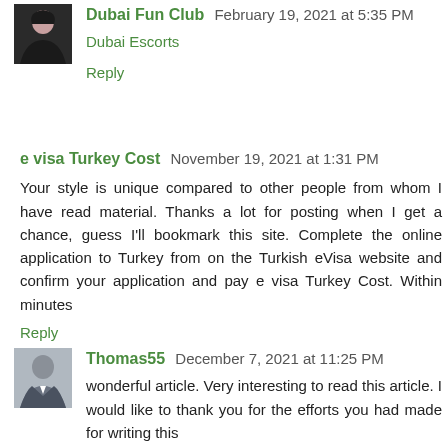Dubai Fun Club  February 19, 2021 at 5:35 PM
Dubai Escorts
Reply
e visa Turkey Cost  November 19, 2021 at 1:31 PM
Your style is unique compared to other people from whom I have read material. Thanks a lot for posting when I get a chance, guess I'll bookmark this site. Complete the online application to Turkey from on the Turkish eVisa website and confirm your application and pay e visa Turkey Cost. Within minutes
Reply
Thomas55  December 7, 2021 at 11:25 PM
wonderful article. Very interesting to read this article. I would like to thank you for the efforts you had made for writing this